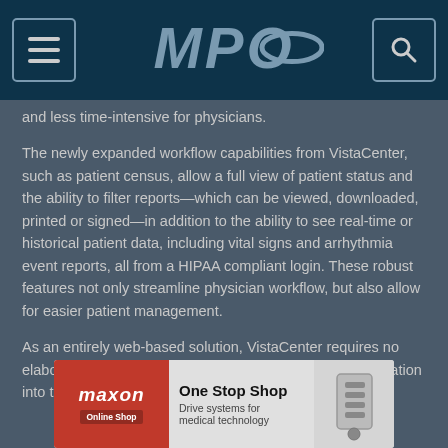MPO
and less time-intensive for physicians.
The newly expanded workflow capabilities from VistaCenter, such as patient census, allow a full view of patient status and the ability to filter reports—which can be viewed, downloaded, printed or signed—in addition to the ability to see real-time or historical patient data, including vital signs and arrhythmia event reports, all from a HIPAA compliant login. These robust features not only streamline physician workflow, but also allow for easier patient management.
As an entirely web-based solution, VistaCenter requires no elaborate system integration. Designed for easy customization into the office or hospital electronic medical
[Figure (photo): Advertisement banner for Maxon One Stop Shop — Drive systems for medical technology]